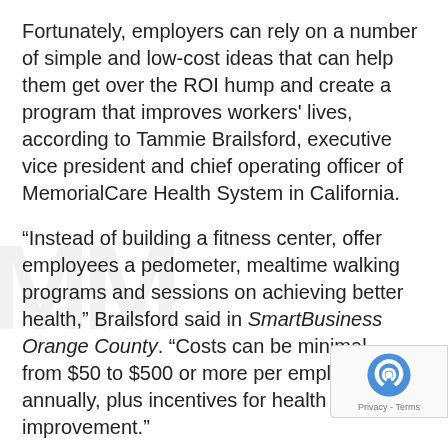Fortunately, employers can rely on a number of simple and low-cost ideas that can help them get over the ROI hump and create a program that improves workers' lives, according to Tammie Brailsford, executive vice president and chief operating officer of MemorialCare Health System in California.
“Instead of building a fitness center, offer employees a pedometer, mealtime walking programs and sessions on achieving better health,” Brailsford said in SmartBusiness Orange County. “Costs can be minimal — from $50 to $500 or more per employee annually, plus incentives for health improvement.”
Those incentives can increase overall costs, but most employers remain committed to them, the Fidelity/NBGH study found. Seventy-three percent of companies with wellness programs used incentives in 2011, with an average value of $460. That compares with an average incentive value of $430 in 2010 and